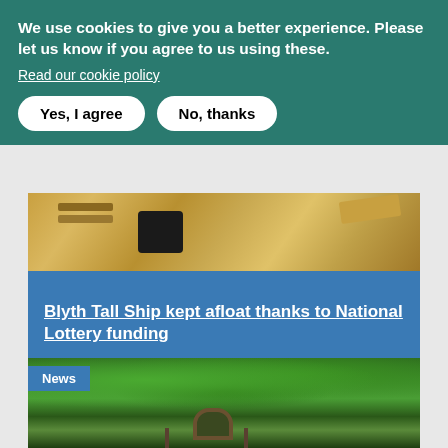We use cookies to give you a better experience. Please let us know if you agree to us using these.
Read our cookie policy
Yes, I agree
No, thanks
[Figure (photo): Close-up of woodworking — wood planks and a power tool on a workbench]
Blyth Tall Ship kept afloat thanks to National Lottery funding
News
[Figure (photo): Outdoor nature scene with lush green trees, overgrown railway tracks, and a stone arch bridge in a forest setting]